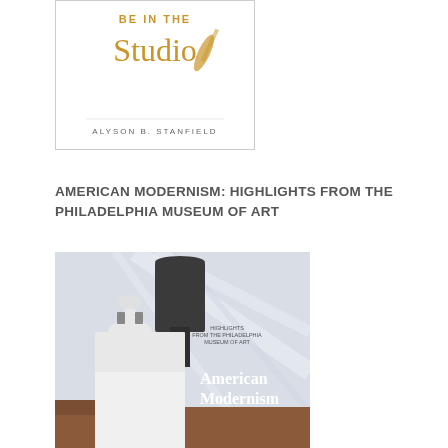[Figure (illustration): Book cover showing 'I'd Rather Be in the Studio' by Alyson B. Stanfield, with gold script text and a paintbrush graphic on white background]
AMERICAN MODERNISM: HIGHLIGHTS FROM THE PHILADELPHIA MUSEUM OF ART
[Figure (illustration): Book cover of 'American Modernism: Highlights from the Philadelphia Museum of Art' showing a modernist painting of a church steeple and water tower with diagonal lines]